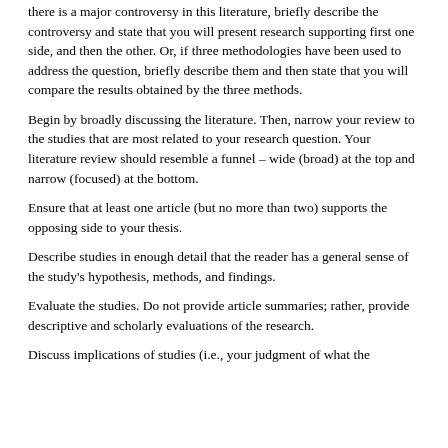there is a major controversy in this literature, briefly describe the controversy and state that you will present research supporting first one side, and then the other. Or, if three methodologies have been used to address the question, briefly describe them and then state that you will compare the results obtained by the three methods.
Begin by broadly discussing the literature. Then, narrow your review to the studies that are most related to your research question. Your literature review should resemble a funnel – wide (broad) at the top and narrow (focused) at the bottom.
Ensure that at least one article (but no more than two) supports the opposing side to your thesis.
Describe studies in enough detail that the reader has a general sense of the study's hypothesis, methods, and findings.
Evaluate the studies. Do not provide article summaries; rather, provide descriptive and scholarly evaluations of the research.
Discuss implications of studies (i.e., your judgment of what the